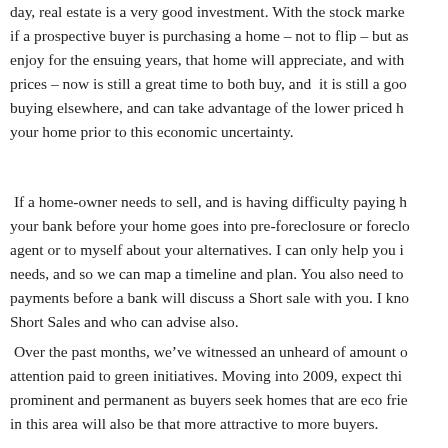day, real estate is a very good investment. With the stock marke if a prospective buyer is purchasing a home – not to flip – but as enjoy for the ensuing years, that home will appreciate, and with prices – now is still a great time to both buy, and it is still a goo buying elsewhere, and can take advantage of the lower priced h your home prior to this economic uncertainty.
If a home-owner needs to sell, and is having difficulty paying h your bank before your home goes into pre-foreclosure or foreclo agent or to myself about your alternatives. I can only help you i needs, and so we can map a timeline and plan. You also need to payments before a bank will discuss a Short sale with you. I kno Short Sales and who can advise also.
Over the past months, we've witnessed an unheard of amount o attention paid to green initiatives. Moving into 2009, expect thi prominent and permanent as buyers seek homes that are eco frie in this area will also be that more attractive to more buyers.